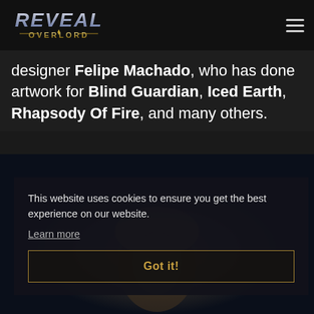[Figure (logo): Reveal Overlord game/band logo in metallic silver style text]
designer Felipe Machado, who has done artwork for Blind Guardian, Iced Earth, Rhapsody Of Fire, and many others.
[Figure (photo): A person with blonde hair, dark fantasy themed photo, partially obscured by cookie overlay]
This website uses cookies to ensure you get the best experience on our website.
Learn more
Got it!